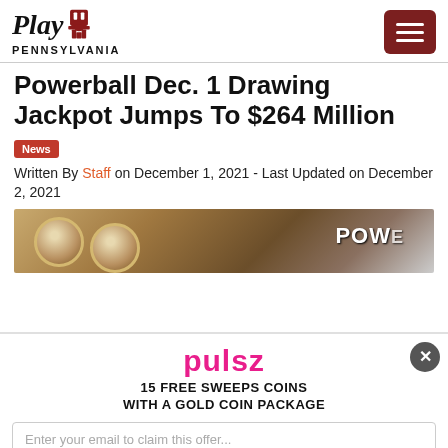Play Pennsylvania
Powerball Dec. 1 Drawing Jackpot Jumps To $264 Million
News
Written By Staff on December 1, 2021 - Last Updated on December 2, 2021
[Figure (photo): Close-up of Powerball lottery tickets showing the word POWE partially visible]
[Figure (infographic): Pulsz advertisement overlay with email capture form. Heading: pulsz. Subheading: 15 FREE SWEEPS COINS WITH A GOLD COIN PACKAGE. Email input field and CLAIM OFFER button.]